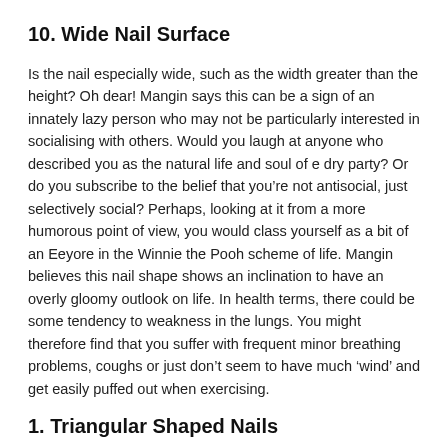10. Wide Nail Surface
Is the nail especially wide, such as the width greater than the height? Oh dear! Mangin says this can be a sign of an innately lazy person who may not be particularly interested in socialising with others. Would you laugh at anyone who described you as the natural life and soul of e dry party? Or do you subscribe to the belief that you’re not antisocial, just selectively social? Perhaps, looking at it from a more humorous point of view, you would class yourself as a bit of an Eeyore in the Winnie the Pooh scheme of life. Mangin believes this nail shape shows an inclination to have an overly gloomy outlook on life. In health terms, there could be some tendency to weakness in the lungs. You might therefore find that you suffer with frequent minor breathing problems, coughs or just don’t seem to have much ‘wind’ and get easily puffed out when exercising.
1. Triangular Shaped Nails